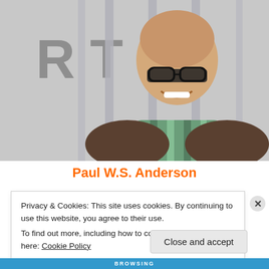[Figure (photo): A smiling bald man wearing glasses and a striped green and brown scarf, photographed behind vertical bars or a gate, with partial text visible in background.]
Paul W.S. Anderson
Privacy & Cookies: This site uses cookies. By continuing to use this website, you agree to their use.
To find out more, including how to control cookies, see here: Cookie Policy
Close and accept